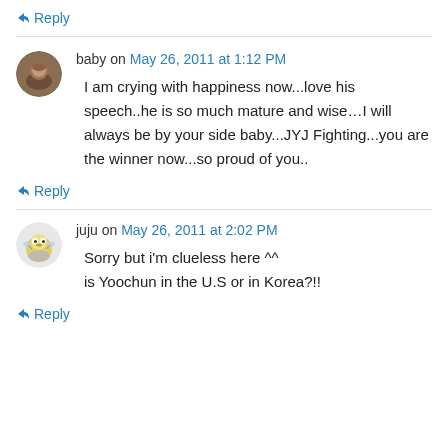↪ Reply
baby on May 26, 2011 at 1:12 PM
I am crying with happiness now...love his speech..he is so much mature and wise…I will always be by your side baby...JYJ Fighting...you are the winner now...so proud of you..
↪ Reply
juju on May 26, 2011 at 2:02 PM
Sorry but i'm clueless here ^^
is Yoochun in the U.S or in Korea?!!
↪ Reply